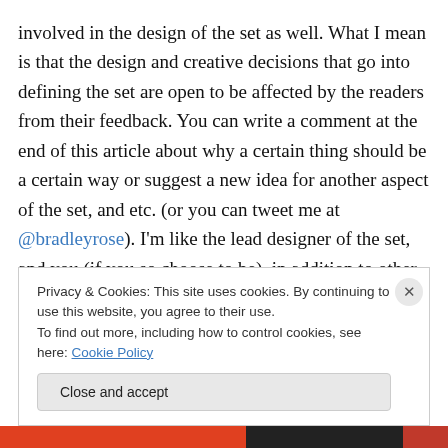involved in the design of the set as well. What I mean is that the design and creative decisions that go into defining the set are open to be affected by the readers from their feedback. You can write a comment at the end of this article about why a certain thing should be a certain way or suggest a new idea for another aspect of the set, and etc. (or you can tweet me at @bradleyrose). I'm like the lead designer of the set, and you (if you so choose to be), in addition to other participating readers, are part of my design team.
Privacy & Cookies: This site uses cookies. By continuing to use this website, you agree to their use. To find out more, including how to control cookies, see here: Cookie Policy